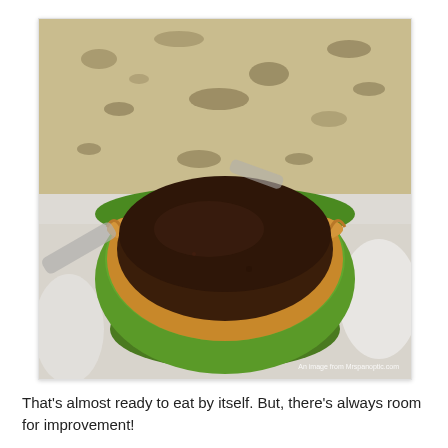[Figure (photo): A chocolate pie or tart in a green ceramic ramekin/dish, placed on a baking sheet, with a golden-brown crimped pie crust visible around the edges, filled with dark chocolate filling. A granite countertop is visible in the background. A watermark reads 'An image from Mrspanoptic.com'.]
That's almost ready to eat by itself. But, there's always room for improvement!